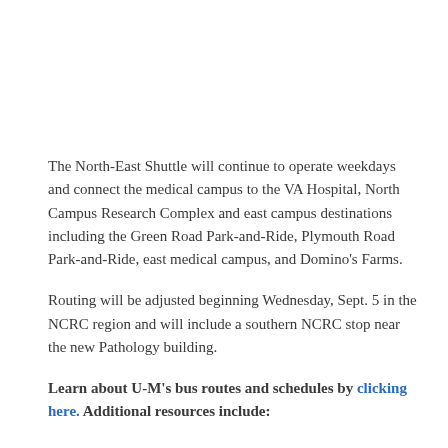The North-East Shuttle will continue to operate weekdays and connect the medical campus to the VA Hospital, North Campus Research Complex and east campus destinations including the Green Road Park-and-Ride, Plymouth Road Park-and-Ride, east medical campus, and Domino's Farms.
Routing will be adjusted beginning Wednesday, Sept. 5 in the NCRC region and will include a southern NCRC stop near the new Pathology building.
Learn about U-M's bus routes and schedules by clicking here. Additional resources include: